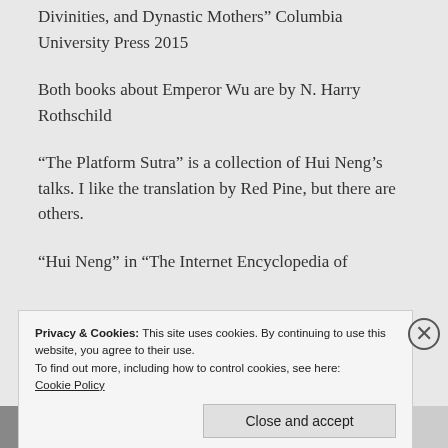Divinities, and Dynastic Mothers” Columbia University Press 2015
Both books about Emperor Wu are by N. Harry Rothschild
“The Platform Sutra” is a collection of Hui Neng’s talks. I like the translation by Red Pine, but there are others.
“Hui Neng” in “The Internet Encyclopedia of
Privacy & Cookies: This site uses cookies. By continuing to use this website, you agree to their use.
To find out more, including how to control cookies, see here:
Cookie Policy
Close and accept